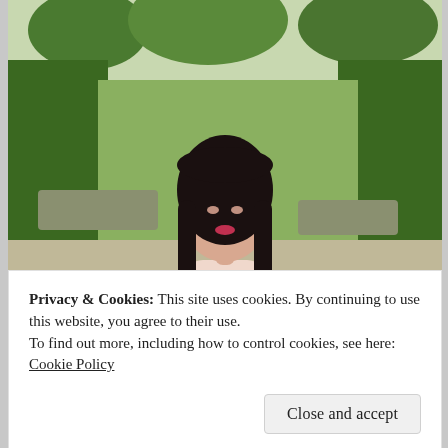[Figure (photo): A young woman with long black hair and bangs, wearing a light pink floral dress with ruffled sleeves and carrying a teal/turquoise handbag. She is standing outdoors in what appears to be a garden or plaza area with green hedges, planters and trees in the background.]
Privacy & Cookies: This site uses cookies. By continuing to use this website, you agree to their use.
To find out more, including how to control cookies, see here: Cookie Policy
Close and accept